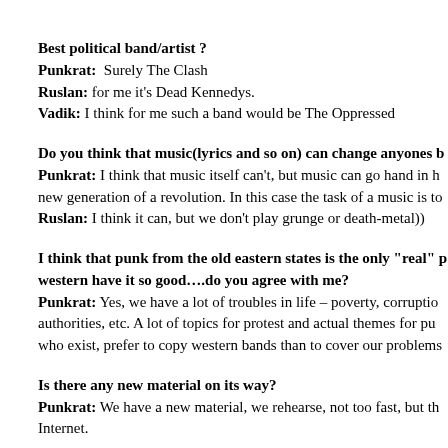Best political band/artist ?
Punkrat: Surely The Clash
Ruslan: for me it's Dead Kennedys.
Vadik: I think for me such a band would be The Oppressed
Do you think that music(lyrics and so on) can change anyones b
Punkrat: I think that music itself can't, but music can go hand in h new generation of a revolution. In this case the task of a music is to
Ruslan: I think it can, but we don't play grunge or death-metal))
I think that punk from the old eastern states is the only "real" p western have it so good….do you agree with me?
Punkrat: Yes, we have a lot of troubles in life – poverty, corruptio authorities, etc. A lot of topics for protest and actual themes for pu who exist, prefer to copy western bands than to cover our problems
Is there any new material on its way?
Punkrat: We have a new material, we rehearse, not too fast, but th Internet.
Please tell me a funny thing which have happened during your